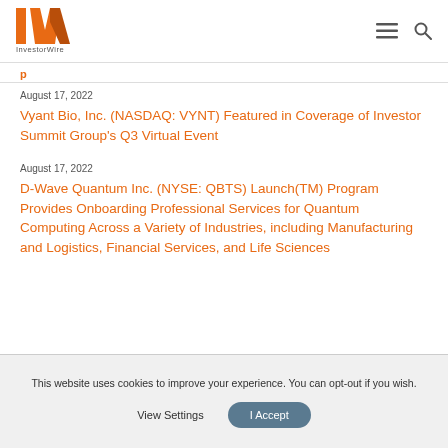InvestorWire
p
August 17, 2022
Vyant Bio, Inc. (NASDAQ: VYNT) Featured in Coverage of Investor Summit Group's Q3 Virtual Event
August 17, 2022
D-Wave Quantum Inc. (NYSE: QBTS) Launch(TM) Program Provides Onboarding Professional Services for Quantum Computing Across a Variety of Industries, including Manufacturing and Logistics, Financial Services, and Life Sciences
This website uses cookies to improve your experience. You can opt-out if you wish.  View Settings  I Accept